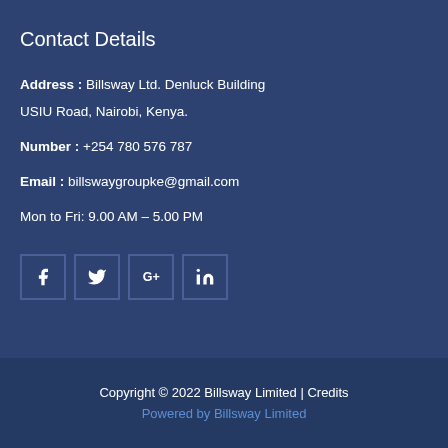Contact Details
Address : Billsway Ltd. Denluck Building USIU Road, Nairobi, Kenya.
Number : +254 780 576 787
Email : billswaygroupke@gmail.com
Mon to Fri: 9.00 AM – 5.00 PM
[Figure (illustration): Social media icons: Facebook, Twitter, Google+, LinkedIn]
Copyright © 2022 Billsway Limited | Credits
Powered by Billsway Limited